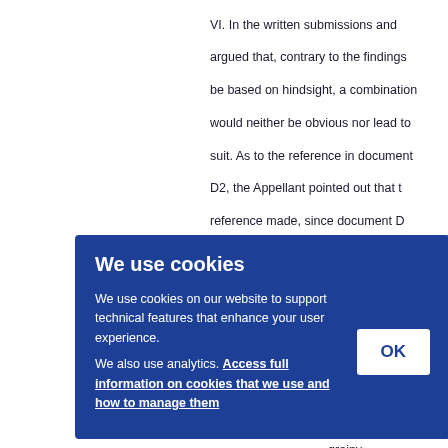VI. In the written submissions and argued that, contrary to the findings be based on hindsight, a combination would neither be obvious nor lead to suit. As to the reference in document D2, the Appellant pointed out that reference made, since document D process, which was a mechanical process had nothing to do with the evaporation heated by a high-energy electron beam ntaining ering dhesion grainy ee of application me the
[Figure (screenshot): Cookie consent banner overlay with blue background. Title: 'We use cookies'. Body text: 'We use cookies on our website to support technical features that enhance your user experience. We also use analytics. Access full information on cookies that we use and how to manage them'. OK button on the right.]
"Exh use of